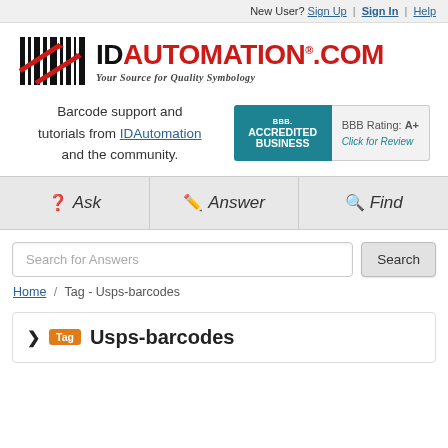New User? Sign Up | Sign In | Help
[Figure (logo): IDAutomation.com logo with barcode graphic and tagline 'Your Source for Quality Symbology']
Barcode support and tutorials from IDAutomation and the community.
[Figure (other): BBB Accredited Business badge with BBB Rating: A+ and Click for Review]
Ask   Answer   Find
Search for Answers
Home / Tag - Usps-barcodes
Usps-barcodes